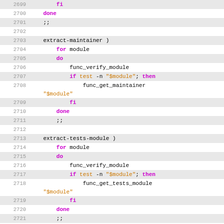[Figure (screenshot): Source code viewer showing shell script lines 2699-2724 with syntax highlighting. Line numbers on left, alternating shaded rows, keywords in purple/magenta, strings in orange.]